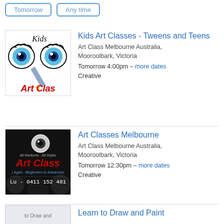Tomorrow
Any time
[Figure (illustration): Kids Art Classes logo with blue cartoon eyes, pencil, and red 'Art Clas' text on white background]
Kids Art Classes - Tweens and Teens
Art Class Melbourne Australia, Mooroolbark, Victoria
Tomorrow 4:00pm – more dates
Creative
[Figure (illustration): Art Class Melbourne logo with black background, red 'Art Class' text, 'All Mediums - All Styles', ages and phone number Lu-0411 152 481]
Art Classes Melbourne
Art Class Melbourne Australia, Mooroolbark, Victoria
Tomorrow 12:30pm – more dates
Creative
[Figure (illustration): Partial thumbnail for Learn to Draw and Paint listing]
Learn to Draw and Paint